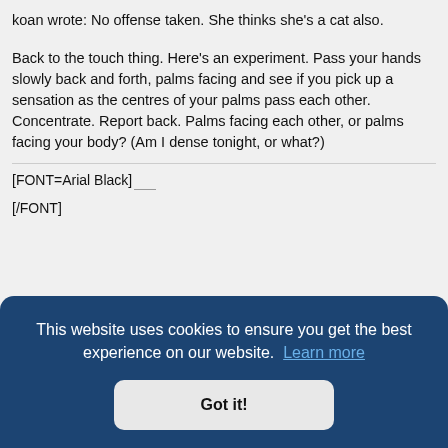koan wrote: No offense taken. She thinks she's a cat also.
Back to the touch thing. Here's an experiment. Pass your hands slowly back and forth, palms facing and see if you pick up a sensation as the centres of your palms pass each other. Concentrate. Report back. Palms facing each other, or palms facing your body? (Am I dense tonight, or what?)
[FONT=Arial Black] ...
[/FONT]
This website uses cookies to ensure you get the best experience on our website. Learn more
Got it!